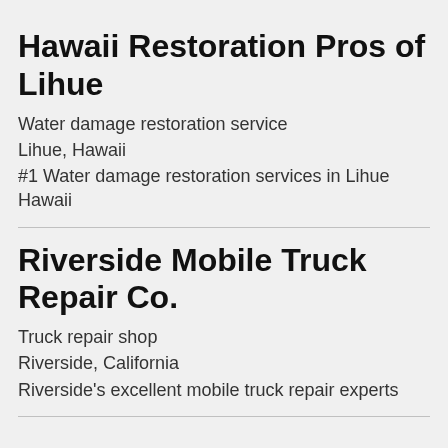Hawaii Restoration Pros of Lihue
Water damage restoration service
Lihue, Hawaii
#1 Water damage restoration services in Lihue Hawaii
Riverside Mobile Truck Repair Co.
Truck repair shop
Riverside, California
Riverside's excellent mobile truck repair experts